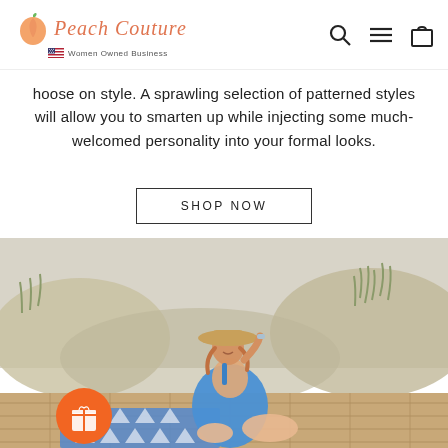Peach Couture — Women Owned Business
hoose on style. A sprawling selection of patterned styles will allow you to smarten up while injecting some much-welcomed personality into your formal looks.
SHOP NOW
[Figure (photo): Woman in blue dress and sun hat sitting on a wooden boardwalk at a sandy beach, smiling, with a blue and white patterned blanket/towel. Orange gift icon circle in bottom left corner.]